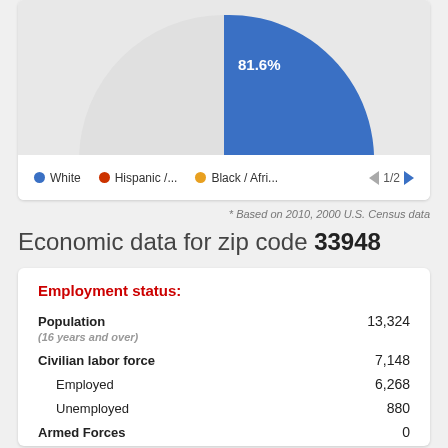[Figure (pie-chart): Race/Ethnicity pie chart]
* Based on 2010, 2000 U.S. Census data
Economic data for zip code 33948
Employment status:
| Category | Value |
| --- | --- |
| Population (16 years and over) | 13,324 |
| Civilian labor force | 7,148 |
| Employed | 6,268 |
| Unemployed | 880 |
| Armed Forces | 0 |
| Not in labor force | 6,176 |